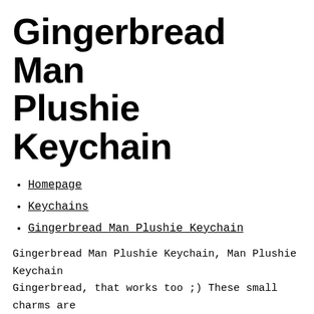Gingerbread Man Plushie Keychain
Homepage
Keychains
Gingerbread Man Plushie Keychain
Gingerbread Man Plushie Keychain, Man Plushie Keychain Gingerbread, that works too ;) These small charms are excellent gifts for friends and family if you just want to gift someone with something sweet, simple, and yummy, Size - Height: 4,3 inches (2,1 inches with keychain),Celebrate the holiday with this adorable